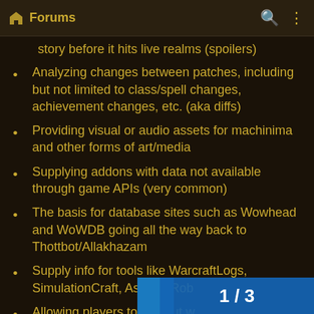Forums
story before it hits live realms (spoilers)
Analyzing changes between patches, including but not limited to class/spell changes, achievement changes, etc. (aka diffs)
Providing visual or audio assets for machinima and other forms of art/media
Supplying addons with data not available through game APIs (very common)
The basis for database sites such as Wowhead and WoWDB going all the way back to Thottbot/Allakhazam
Supply info for tools like WarcraftLogs, SimulationCraft, Ask Mr. Rob…
Allowing players to find out w…
1 / 3